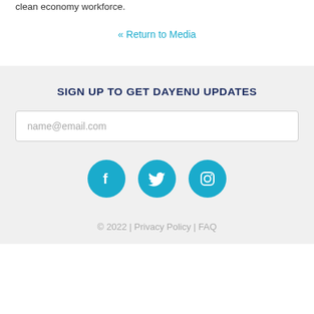clean economy workforce.
« Return to Media
SIGN UP TO GET DAYENU UPDATES
name@email.com
[Figure (illustration): Three social media icon circles (Facebook, Twitter, Instagram) in teal/cyan color]
© 2022 | Privacy Policy | FAQ